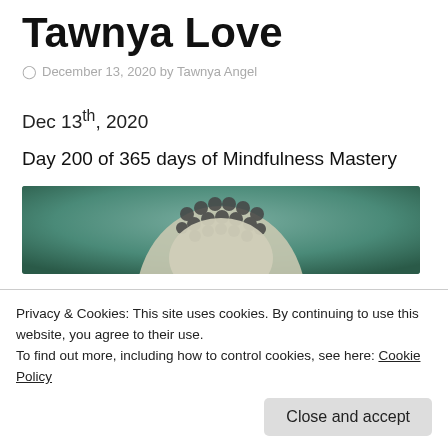Tawnya Love
December 13, 2020 by Tawnya Angel
Dec 13th, 2020
Day 200 of 365 days of Mindfulness Mastery
[Figure (photo): Close-up photo of a Buddha statue head with dark beaded hair against a teal/green background]
Privacy & Cookies: This site uses cookies. By continuing to use this website, you agree to their use.
To find out more, including how to control cookies, see here: Cookie Policy
Close and accept